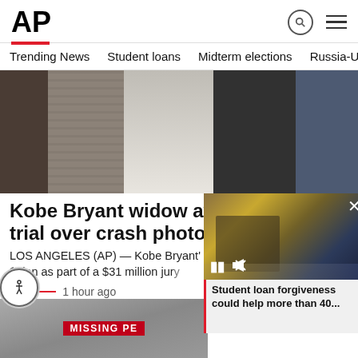AP
Trending News
Student loans
Midterm elections
Russia-Ukr
[Figure (photo): Group of women walking together, shot from mid-body down, wearing various outfits including grey ribbed dress, white outfit, and black clothing]
Kobe Bryant widow awarded $16M in trial over crash photos
LOS ANGELES (AP) — Kobe Bryant's widow was awarded $16 million as part of a $31 million jury verdict
AP  1 hour ago
[Figure (photo): Missing persons sign visible at bottom left of page]
[Figure (photo): Video overlay showing President Biden at podium with caption: Student loan forgiveness could help more than 40...]